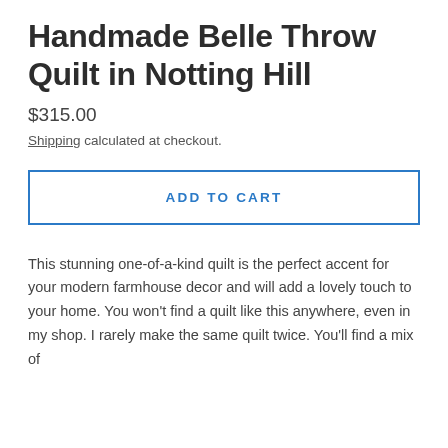Handmade Belle Throw Quilt in Notting Hill
$315.00
Shipping calculated at checkout.
ADD TO CART
This stunning one-of-a-kind quilt is the perfect accent for your modern farmhouse decor and will add a lovely touch to your home. You won't find a quilt like this anywhere, even in my shop. I rarely make the same quilt twice. You'll find a mix of